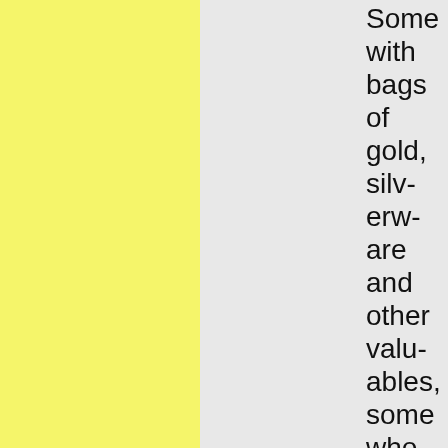Some with bags of gold, silverware and other valuables, some who just wanted to